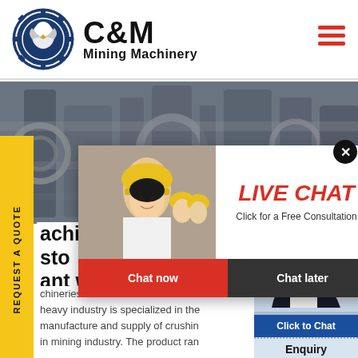[Figure (logo): C&M Mining Machinery logo with eagle gear emblem in dark blue circle]
machineries used for stone crushing plant wiki Mobile
chineries used for stone crushing heavy industry is specialized in the manufacture and supply of crushing in mining industry. The product ran
[Figure (screenshot): Live chat popup with workers in hard hats, LIVE CHAT heading, Click for a Free Consultation text, Chat now and Chat later buttons]
[Figure (photo): Customer service agent with headset, Click to Chat button, Enquiry section below]